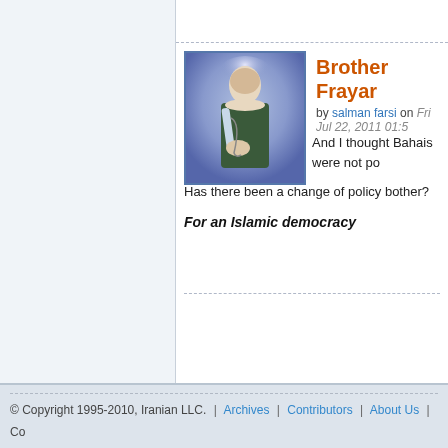[Figure (photo): Avatar image of a robed figure with a halo-like glow, portrait style illustration]
Brother Frayar
by salman farsi on Fri Jul 22, 2011 01:5
And I thought Bahais were not po
Has there been a change of policy bother?
For an Islamic democracy
© Copyright 1995-2010, Iranian LLC.  |  Archives  |  Contributors  |  About Us  |  Co  |  Terms  |  Priv